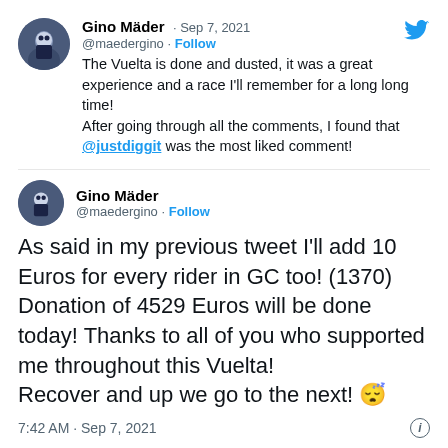Gino Mäder · Sep 7, 2021
@maedergino · Follow
The Vuelta is done and dusted, it was a great experience and a race I'll remember for a long long time!
After going through all the comments, I found that @justdiggit was the most liked comment!
Gino Mäder
@maedergino · Follow
As said in my previous tweet I'll add 10 Euros for every rider in GC too! (1370) Donation of 4529 Euros will be done today! Thanks to all of you who supported me throughout this Vuelta!
Recover and up we go to the next! 😴
7:42 AM · Sep 7, 2021